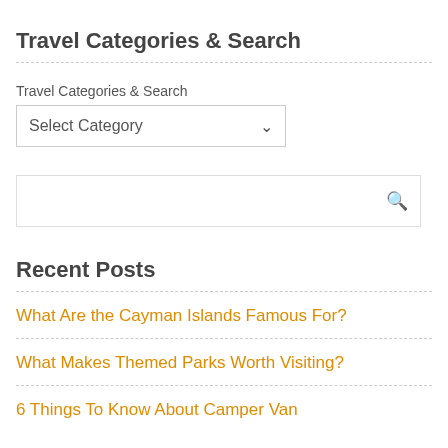Travel Categories & Search
Travel Categories & Search
[Figure (screenshot): Dropdown select box with text 'Select Category' and a dropdown arrow]
[Figure (screenshot): Search input box with a search icon on the right]
Recent Posts
What Are the Cayman Islands Famous For?
What Makes Themed Parks Worth Visiting?
6 Things To Know About Camper Van